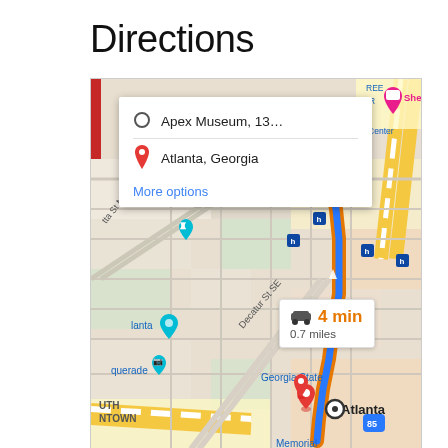Directions
[Figure (map): Google Maps screenshot showing driving directions from Apex Museum (13...) to Atlanta, Georgia. Route shown with blue and orange highlighted path along Decatur St SE. Duration callout shows 4 min, 0.7 miles. Map shows surrounding streets, landmarks including Apex Museum, Georgia State, and Atlanta labels with Sheraton hotel pin visible. A route popup card shows origin: Apex Museum, 13... and destination: Atlanta, Georgia with More options link.]